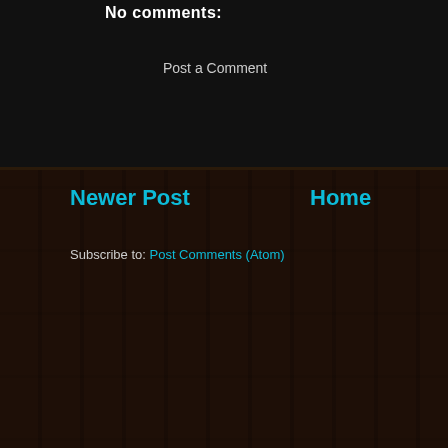No comments:
Post a Comment
Newer Post
Home
Subscribe to: Post Comments (Atom)